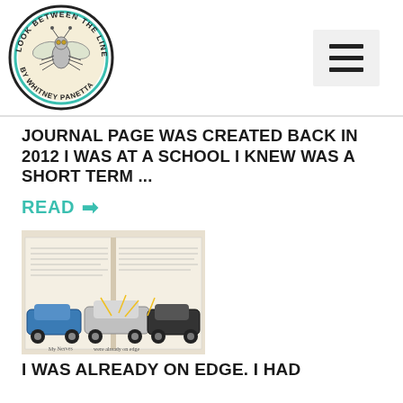[Figure (logo): Look Between the Lines by Whitney Panetta circular logo with illustrated fly in center]
JOURNAL PAGE WAS CREATED BACK IN 2012 I WAS AT A SCHOOL I KNEW WAS A SHORT TERM ...
READ →
[Figure (photo): Open journal/book spread with illustrated cars crashing drawn on the pages, text visible underneath the drawings]
I WAS ALREADY ON EDGE. I HAD